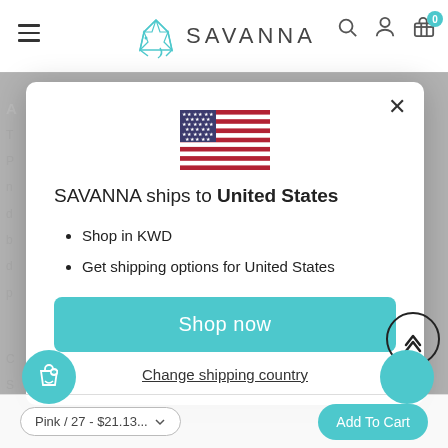[Figure (screenshot): SAVANNA e-commerce website navigation bar with hamburger menu, geometric elephant logo, SAVANNA wordmark, search icon, user icon, and shopping cart icon with badge showing 0]
[Figure (screenshot): Modal dialog overlay showing US flag, 'SAVANNA ships to United States' heading, bullet points 'Shop in KWD' and 'Get shipping options for United States', a teal 'Shop now' button, and 'Change shipping country' link]
SAVANNA ships to United States
Shop in KWD
Get shipping options for United States
Shop now
Change shipping country
Pink / 27 - $21.13...
Add To Cart